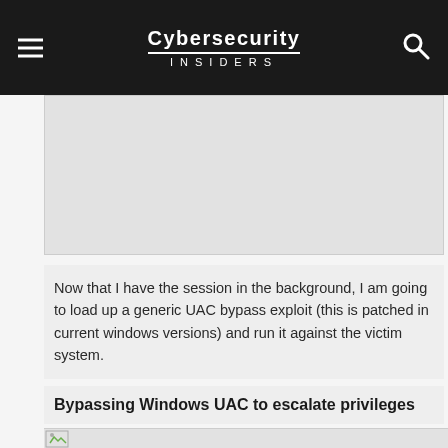Cybersecurity INSIDERS
[Figure (screenshot): Partial screenshot of a terminal or exploit output, cut off at top of visible area]
Now that I have the session in the background, I am going to load up a generic UAC bypass exploit (this is patched in current windows versions) and run it against the victim system.
Bypassing Windows UAC to escalate privileges
[Figure (screenshot): Screenshot showing UAC bypass exploit in action, partially visible at bottom of page]